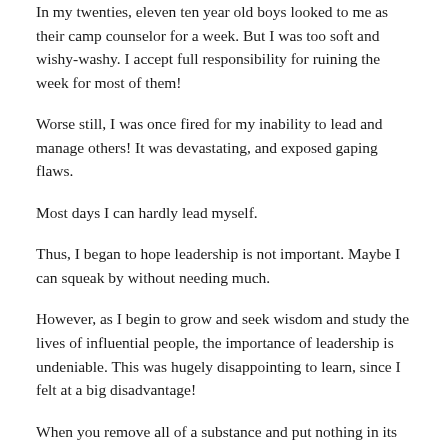In my twenties, eleven ten year old boys looked to me as their camp counselor for a week. But I was too soft and wishy-washy. I accept full responsibility for ruining the week for most of them!
Worse still, I was once fired for my inability to lead and manage others! It was devastating, and exposed gaping flaws.
Most days I can hardly lead myself.
Thus, I began to hope leadership is not important. Maybe I can squeak by without needing much.
However, as I begin to grow and seek wisdom and study the lives of influential people, the importance of leadership is undeniable. This was hugely disappointing to learn, since I felt at a big disadvantage!
When you remove all of a substance and put nothing in its place,